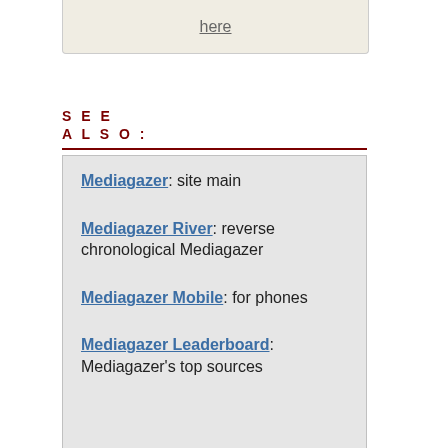here
SEE ALSO:
Mediagazer: site main
Mediagazer River: reverse chronological Mediagazer
Mediagazer Mobile: for phones
Mediagazer Leaderboard: Mediagazer's top sources
SUBSCRIBE:
Mediagazer RSS feed
Mediagazer Twitter